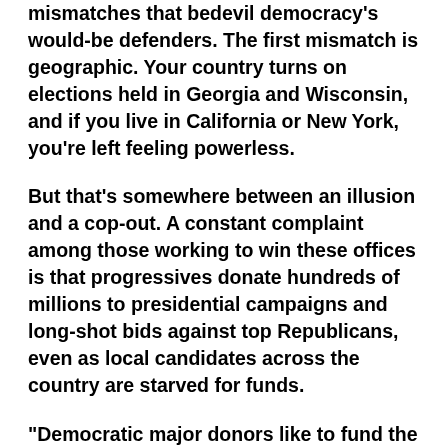mismatches that bedevil democracy's would-be defenders. The first mismatch is geographic. Your country turns on elections held in Georgia and Wisconsin, and if you live in California or New York, you're left feeling powerless.
But that's somewhere between an illusion and a cop-out. A constant complaint among those working to win these offices is that progressives donate hundreds of millions to presidential campaigns and long-shot bids against top Republicans, even as local candidates across the country are starved for funds.
“Democratic major donors like to fund the flashy things,” Litman told me. “Presidential races, Senate races, super PACs, TV ads. Amy McGrath can raise $90 million to run against Mitch McConnell in a